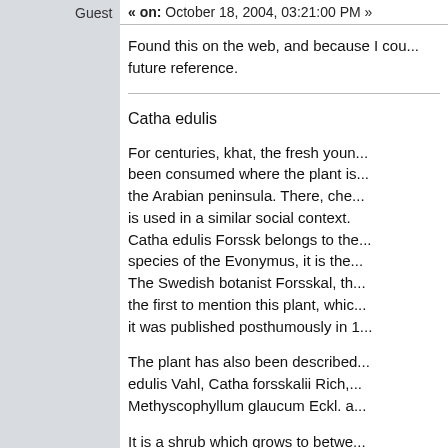Guest
« on: October 18, 2004, 03:21:00 PM »
Found this on the web, and because I cou... future reference.
Catha edulis
For centuries, khat, the fresh youn... been consumed where the plant is... the Arabian peninsula. There, che... is used in a similar social context. Catha edulis Forssk belongs to the... species of the Evonymus, it is the... The Swedish botanist Forsskal, th... the first to mention this plant, whic... it was published posthumously in 1...
The plant has also been described... edulis Vahl, Catha forsskalii Rich,... Methyscophyllum glaucum Eckl. a...
It is a shrub which grows to betwe... 10 m or more in the equatorial zon...